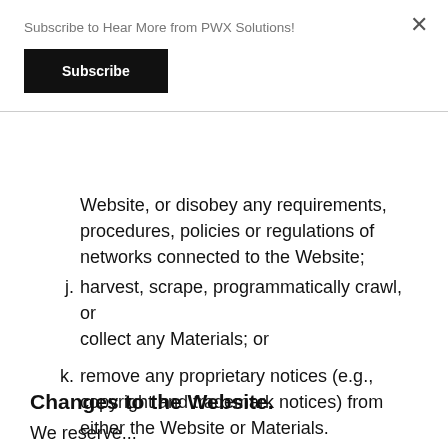Subscribe to Hear More from PWX Solutions!
Subscribe
Website, or disobey any requirements, procedures, policies or regulations of networks connected to the Website;
j. harvest, scrape, programmatically crawl, or collect any Materials; or
k. remove any proprietary notices (e.g., copyright and trademark notices) from either the Website or Materials.
Changes to the Website.
We reserve...